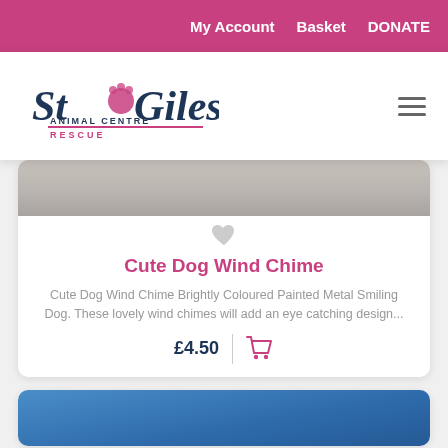My Account   Basket   DONATE
[Figure (logo): St Giles Animal Centre Rescue logo with paw print]
[Figure (photo): Grey/beige background product image (top of card, partially visible)]
Cute Dog Wind Chime
Cute Dog Wind Chime Brightly Coloured Painted Metal Smiling Dog. These lovely wind chimes will add an eye catching design...
£4.50
[Figure (photo): Blue product image (second card, partially visible at bottom)]